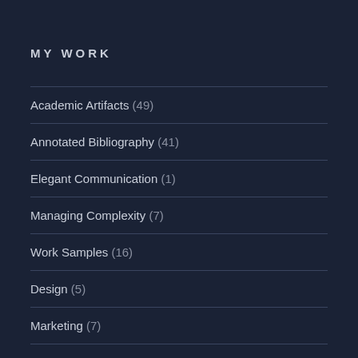MY WORK
Academic Artifacts (49)
Annotated Bibliography (41)
Elegant Communication (1)
Managing Complexity (7)
Work Samples (16)
Design (5)
Marketing (7)
Strategy (8)
Video (5)